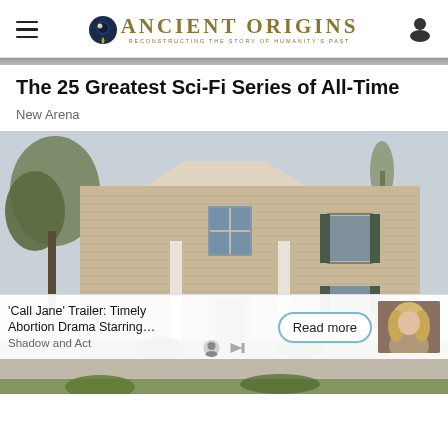Ancient Origins — Reconstructing the Story of Humanity's Past
The 25 Greatest Sci-Fi Series of All-Time
New Arena
[Figure (photo): Exterior photo of a two-story colonial-style house with beige/tan horizontal siding, white trim, dark shutters, columns at entrance, surrounded by trees with spring foliage and green lawn]
'Call Jane' Trailer: Timely Abortion Drama Starring…
Shadow and Act
[Figure (photo): Thumbnail image of a woman with long blonde hair, appears to be from a film or TV show]